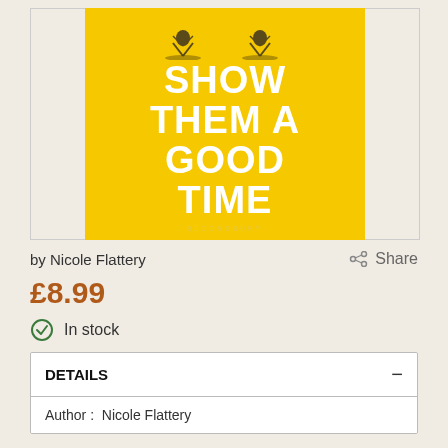[Figure (illustration): Book cover for 'Show Them A Good Time' by Nicole Flattery, published by Bloomsbury. Yellow background with white bold text and two illustrated figures at the top.]
by Nicole Flattery
Share
£8.99
In stock
| DETAILS |
| --- |
| Author :  Nicole Flattery |